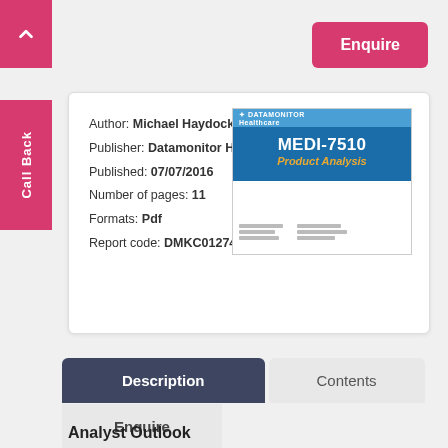Enquire
Call Back
Author: Michael Haydock
Publisher: Datamonitor Hea
Published: 07/07/2016
Number of pages: 11
Formats: Pdf
Report code: DMKC0127415
[Figure (illustration): Datamonitor Healthcare product cover showing MEDI-7510 Product Analysis in blue with gold subtitle text]
Description
Contents
Enquire
Analyst Outlook